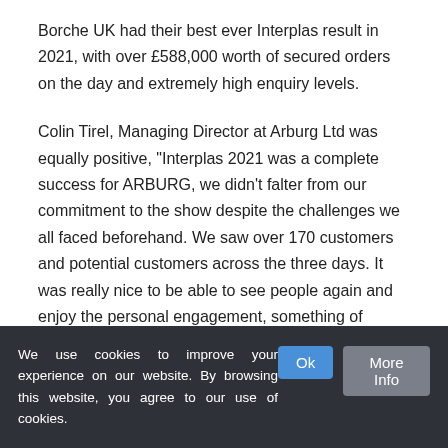Borche UK had their best ever Interplas result in 2021, with over £588,000 worth of secured orders on the day and extremely high enquiry levels.
Colin Tirel, Managing Director at Arburg Ltd was equally positive, "Interplas 2021 was a complete success for ARBURG, we didn't falter from our commitment to the show despite the challenges we all faced beforehand. We saw over 170 customers and potential customers across the three days. It was really nice to be able to see people again and enjoy the personal engagement, something of course we took for granted before. We look forward to being at Interplas 2023!"
We use cookies to improve your experience on our website. By browsing this website, you agree to our use of cookies.